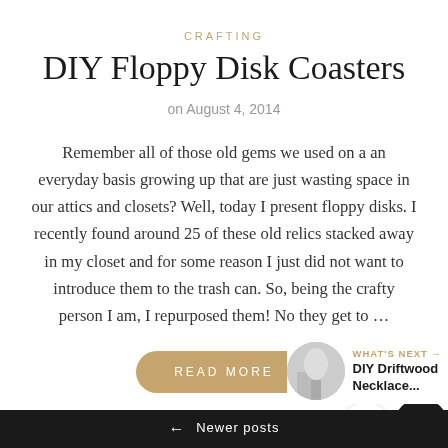CRAFTING
DIY Floppy Disk Coasters
on August 4, 2014
Remember all of those old gems we used on a an everyday basis growing up that are just wasting space in our attics and closets? Well, today I present floppy disks. I recently found around 25 of these old relics stacked away in my closet and for some reason I just did not want to introduce them to the trash can. So, being the crafty person I am, I repurposed them! No they get to …
READ MORE
WHAT'S NEXT → DIY Driftwood Necklace...
← Newer posts